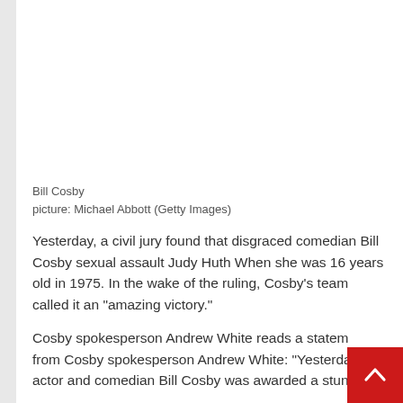[Figure (photo): Photo placeholder area for Bill Cosby image]
Bill Cosby
picture: Michael Abbott (Getty Images)
Yesterday, a civil jury found that disgraced comedian Bill Cosby sexual assault Judy Huth When she was 16 years old in 1975. In the wake of the ruling, Cosby’s team called it an “amazing victory.”
Cosby spokesperson Andrew White reads a statement from Cosby spokesperson Andrew White: "Yesterday, actor and comedian Bill Cosby was awarded a stunning